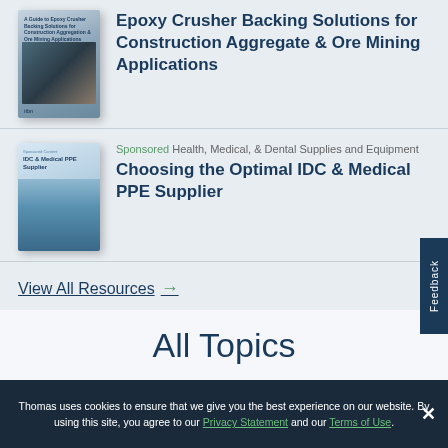[Figure (illustration): Book cover for Epoxy Crusher Backing Solutions guide with industrial mining imagery]
Epoxy Crusher Backing Solutions for Construction Aggregate & Ore Mining Applications
[Figure (illustration): Book cover for IDC & Medical PPE Supplier guide with medical worker image]
Sponsored Health, Medical, & Dental Supplies and Equipment
Choosing the Optimal IDC & Medical PPE Supplier
View All Resources →
All Topics
Thomas uses cookies to ensure that we give you the best experience on our website. By using this site, you agree to our Privacy Statement and our Terms of Use.